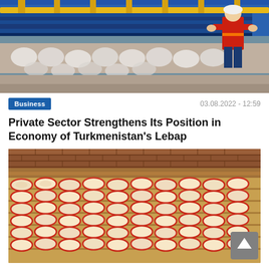[Figure (photo): Industrial machinery with conveyor belt and worker in red safety vest at a manufacturing facility]
Business
03.08.2022 - 12:59
Private Sector Strengthens Its Position in Economy of Turkmenistan's Lebap
[Figure (photo): Dried apple slices arranged in rows on wooden drying racks inside a facility with brick walls]